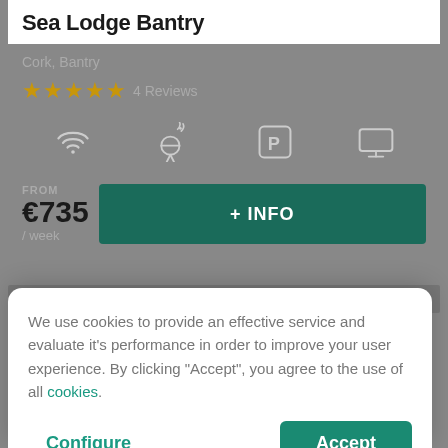Sea Lodge Bantry
Cork, Bantry
★★★★★ 4 Reviews
[Figure (infographic): Four amenity icons: WiFi, barbecue/cooking, parking (P), TV/monitor]
FROM
€735
/ week
+ INFO
[Figure (screenshot): Partial image of another property listing below]
We use cookies to provide an effective service and evaluate it's performance in order to improve your user experience. By clicking "Accept", you agree to the use of all cookies.
Configure
Accept